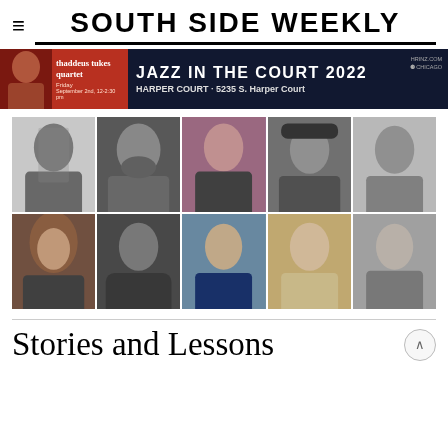SOUTH SIDE WEEKLY
[Figure (photo): Advertisement banner for Jazz in the Court 2022 featuring Thaddeus Tukes Quartet at Harper Court - 5235 S. Harper Court, Friday September 2nd, 12-2:30pm]
[Figure (photo): Grid of 10 headshot photos showing staff or contributors, arranged in 2 rows of 5 columns. Top row: woman with straight dark hair, bearded man with glasses, woman with dark hair on purple background, young man with black cap and glasses, older woman with glasses. Bottom row: woman with curly hair, man in hoodie, older man with glasses wearing Patriots shirt, young man smiling, man in casual top.]
Stories and Lessons